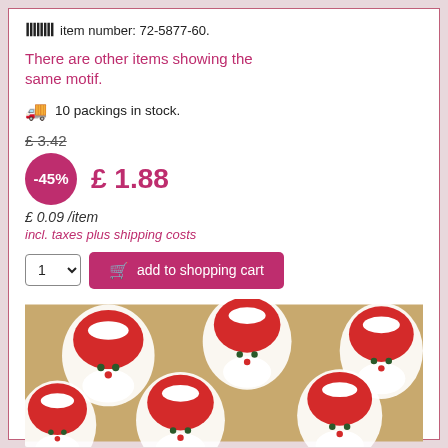item number: 72-5877-60.
There are other items showing the same motif.
10 packings in stock.
£ 3.42
-45%  £ 1.88
£ 0.09 /item
incl. taxes plus shipping costs
1  add to shopping cart
[Figure (photo): Product photo showing a repeating pattern of illustrated Santa Claus faces on a tan/kraft paper background. Multiple red-hatted Santa faces with white beards arranged in a pattern.]